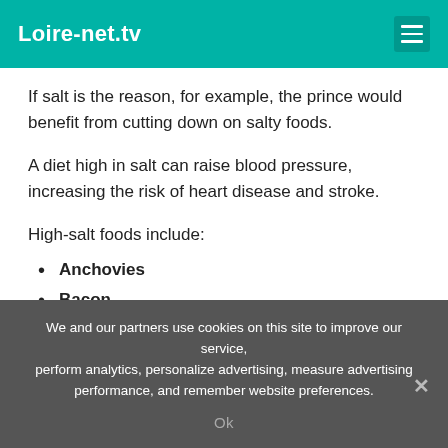Loire-net.tv
If salt is the reason, for example, the prince would benefit from cutting down on salty foods.
A diet high in salt can raise blood pressure, increasing the risk of heart disease and stroke.
High-salt foods include:
Anchovies
Bacon
Cheese
We and our partners use cookies on this site to improve our service, perform analytics, personalize advertising, measure advertising performance, and remember website preferences.
Ok